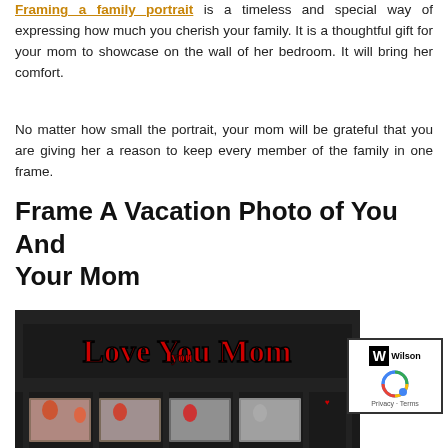Framing a family portrait is a timeless and special way of expressing how much you cherish your family. It is a thoughtful gift for your mom to showcase on the wall of her bedroom. It will bring her comfort.
No matter how small the portrait, your mom will be grateful that you are giving her a reason to keep every member of the family in one frame.
Frame A Vacation Photo of You And Your Mom
[Figure (photo): A decorative photo frame with 'Love You Mom' text in red cursive lettering on a dark frame, with multiple photo slots at the bottom showing family photos, decorated with red heart shapes]